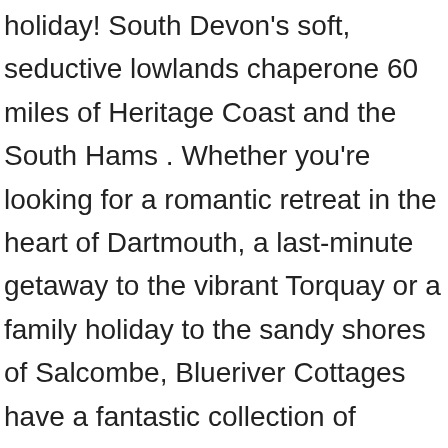holiday! South Devon's soft, seductive lowlands chaperone 60 miles of Heritage Coast and the South Hams . Whether you're looking for a romantic retreat in the heart of Dartmouth, a last-minute getaway to the vibrant Torquay or a family holiday to the sandy shores of Salcombe, Blueriver Cottages have a fantastic collection of properties to choose from. Find that time normally runs out and you get to the last day and find out all the places that you should have gone to while you were way? There are two bedrooms in the third-floor apartment including a family room with a king-size bed and bunk beds with an en-suite shower room and a king-size also with an en-suite shower room, sleeping six guests in total. places that we love to visit in South Devon to help you plan ahead for your Devon holiday. Blue View is a recently constructed development of four luxury